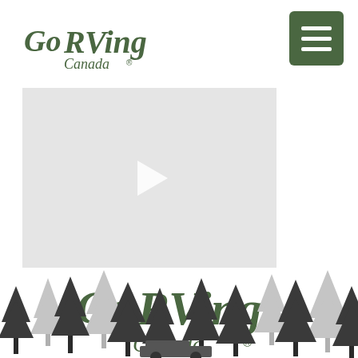[Figure (logo): Go RVing Canada logo small, top-left header]
[Figure (other): Hamburger menu icon button, dark green rounded square, top-right]
[Figure (other): Video player thumbnail, light grey rectangle with white play button triangle]
[Figure (logo): Go RVing Canada logo large, centered in lower half of page]
[Figure (illustration): Silhouette of pine/fir trees in dark grey and light grey tones across the bottom of the page, with a small RV visible at the very bottom center]